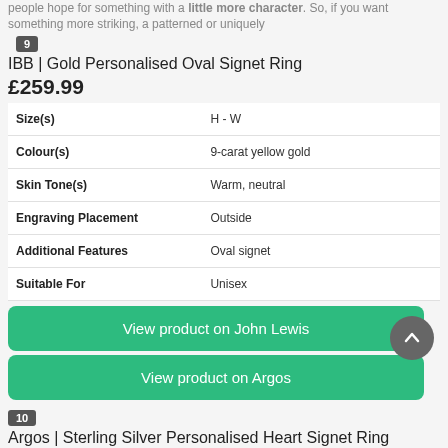people hope for something with a little more character. So, if you want something more striking, a patterned or uniquely shaped ring could be your best bet.
9
IBB | Gold Personalised Oval Signet Ring
£259.99
| Attribute | Value |
| --- | --- |
| Size(s) | H - W |
| Colour(s) | 9-carat yellow gold |
| Skin Tone(s) | Warm, neutral |
| Engraving Placement | Outside |
| Additional Features | Oval signet |
| Suitable For | Unisex |
View product on John Lewis
View product on Argos
10
Argos | Sterling Silver Personalised Heart Signet Ring
£29.99